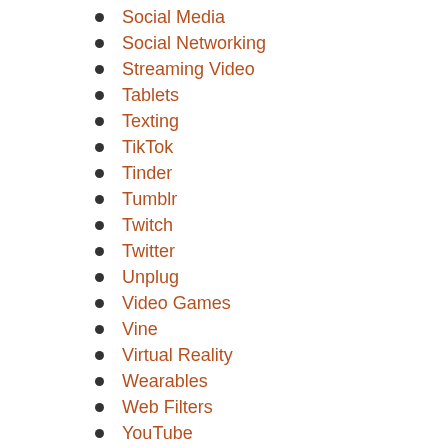Social Media
Social Networking
Streaming Video
Tablets
Texting
TikTok
Tinder
Tumblr
Twitch
Twitter
Unplug
Video Games
Vine
Virtual Reality
Wearables
Web Filters
YouTube
Zoom
Digital Self-Harm